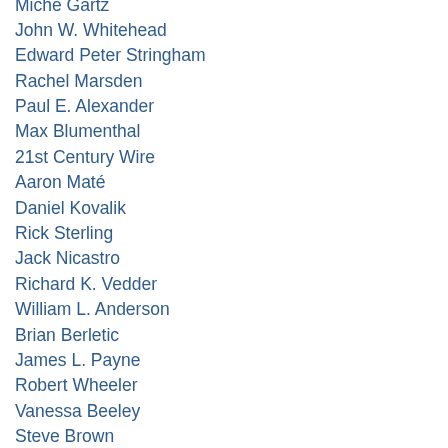Miche Gartz
John W. Whitehead
Edward Peter Stringham
Rachel Marsden
Paul E. Alexander
Max Blumenthal
21st Century Wire
Aaron Maté
Daniel Kovalik
Rick Sterling
Jack Nicastro
Richard K. Vedder
William L. Anderson
Brian Berletic
James L. Payne
Robert Wheeler
Vanessa Beeley
Steve Brown
Claes G. Ryn
Robert M. Sauer & Donald Siegel
John Kiriakou
David Marcus
Tom Luongo
Rachel Allen